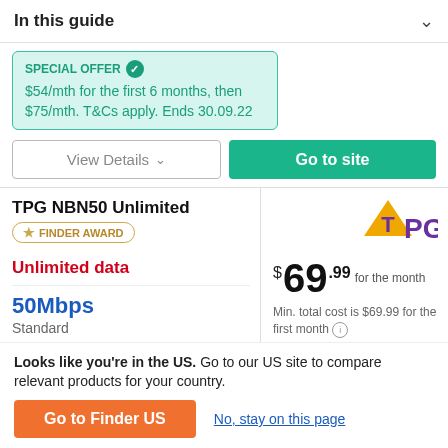In this guide
SPECIAL OFFER
$54/mth for the first 6 months, then $75/mth. T&Cs apply. Ends 30.09.22
View Details
Go to site
TPG NBN50 Unlimited
FINDER AWARD
Unlimited data
50Mbps
Standard
$69.99 for the month
Min. total cost is $69.99 for the first month
Looks like you're in the US. Go to our US site to compare relevant products for your country.
Go to Finder US
No, stay on this page